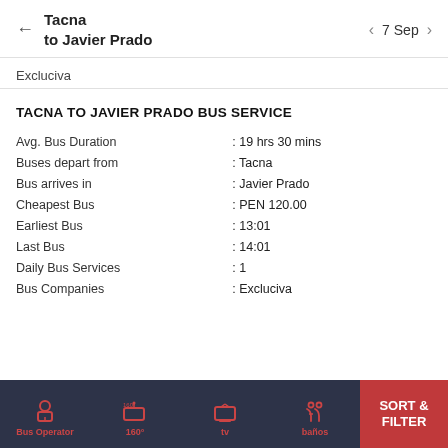Tacna to Javier Prado  ← 7 Sep →
Excluciva
TACNA TO JAVIER PRADO BUS SERVICE
|  |  |
| --- | --- |
| Avg. Bus Duration | : 19 hrs 30 mins |
| Buses depart from | : Tacna |
| Bus arrives in | : Javier Prado |
| Cheapest Bus | : PEN 120.00 |
| Earliest Bus | : 13:01 |
| Last Bus | : 14:01 |
| Daily Bus Services | : 1 |
| Bus Companies | : Excluciva |
Bus Operator  160°  tv  baños  SORT & FILTER